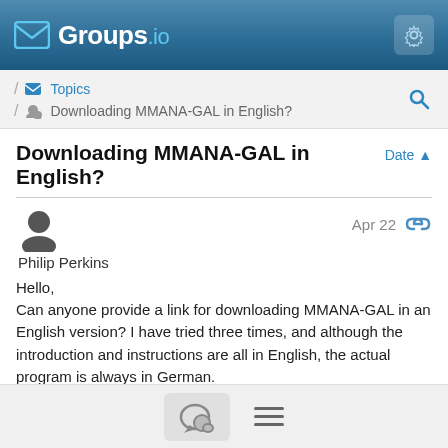Groups.io
Topics / Downloading MMANA-GAL in English?
Downloading MMANA-GAL in English?
Philip Perkins  Apr 22
Hello,
Can anyone provide a link for downloading MMANA-GAL in an English version? I have tried three times, and although the introduction and instructions are all in English, the actual program is always in German.
Many thanks!
Philip